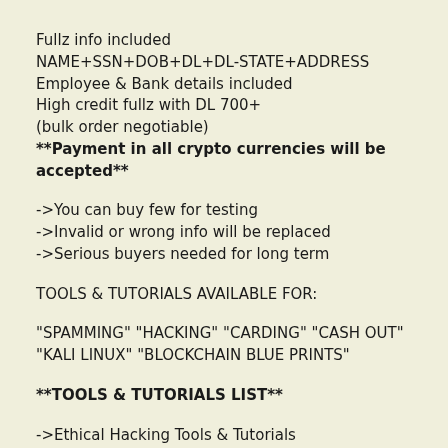Fullz info included
NAME+SSN+DOB+DL+DL-STATE+ADDRESS
Employee & Bank details included
High credit fullz with DL 700+
(bulk order negotiable)
**Payment in all crypto currencies will be accepted**
->You can buy few for testing
->Invalid or wrong info will be replaced
->Serious buyers needed for long term
TOOLS & TUTORIALS AVAILABLE FOR:
"SPAMMING" "HACKING" "CARDING" "CASH OUT"
"KALI LINUX" "BLOCKCHAIN BLUE PRINTS"
**TOOLS & TUTORIALS LIST**
->Ethical Hacking Tools & Tutorials
->Kali Linux
->Keylogger & Keystroke Logger
->Facebook & Google Hacking